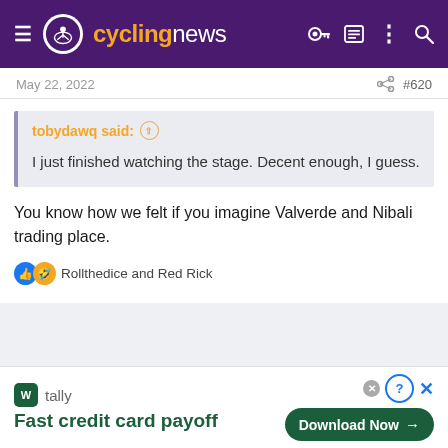cyclingnews
May 22, 2022  #620
tobydawq said:
I just finished watching the stage. Decent enough, I guess.
You know how we felt if you imagine Valverde and Nibali trading place.
Rollthedice and Red Rick
[Figure (screenshot): Tally app advertisement banner at bottom: 'Fast credit card payoff' with Download Now button]